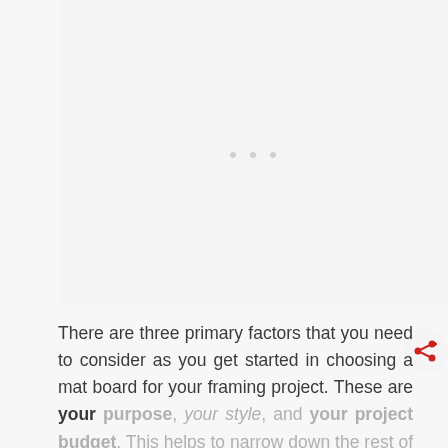[Figure (other): A mostly blank placeholder image area with a light gray background and three small gray dots in the center, indicating a loading or empty image state.]
There are three primary factors that you need to consider as you get started in choosing a mat board for your framing project. These are your purpose, your style, and your project budget. This helps to narrow down the rest of the